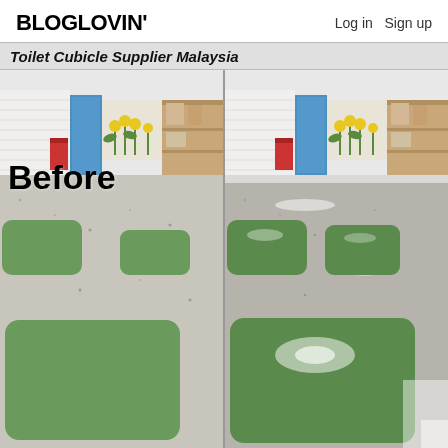BLOGLOVIN'   Log in   Sign up
Toilet Cubicle Supplier Malaysia
[Figure (photo): Before and after comparison photo of a floor cleaning/polishing service. Left side shows a dull, unpolished floor with green accent mats in a room with white brick walls, blue doors, yellow flowers mural, and storage shelves. The label 'Before' appears in bold black text on the left panel. Right side shows the same room with a highly polished, reflective floor with bright light reflections on the green mats and floor surface.]